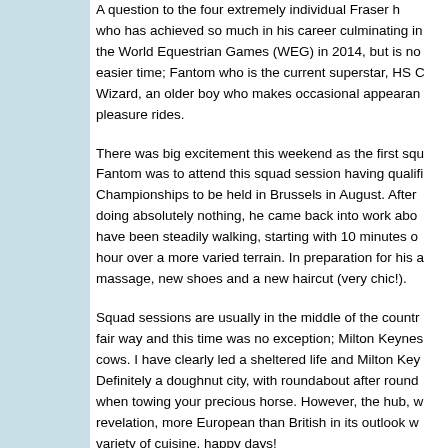A question to the four extremely individual Fraser horses who has achieved so much in his career culminating in the World Equestrian Games (WEG) in 2014, but is no easier time; Fantom who is the current superstar, HS C Wizard, an older boy who makes occasional appearances pleasure rides.
There was big excitement this weekend as the first squad Fantom was to attend this squad session having qualified Championships to be held in Brussels in August. After doing absolutely nothing, he came back into work about have been steadily walking, starting with 10 minutes over a hour over a more varied terrain. In preparation for his appearance massage, new shoes and a new haircut (very chic!).
Squad sessions are usually in the middle of the country fair way and this time was no exception; Milton Keynes cows. I have clearly led a sheltered life and Milton Key Definitely a doughnut city, with roundabout after round when towing your precious horse. However, the hub, w revelation, more European than British in its outlook w variety of cuisine, happy days!